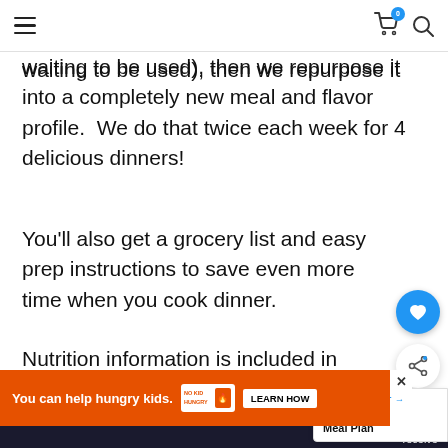Navigation bar with hamburger menu, cart icon (0), and search icon
waiting to be used), then we repurpose it into a completely new meal and flavor profile.  We do that twice each week for 4 delicious dinners!
You'll also get a grocery list and easy prep instructions to save even more time when you cook dinner.
Nutrition information is included in each recipe.
Browse through the images to see all the included in this meal plan.
[Figure (other): Blue circular heart favorite button (FAB)]
[Figure (other): White circular share button (FAB)]
[Figure (other): What's Next panel showing: WHAT'S NEXT → April Week 2 Meal Plan]
[Figure (other): Advertisement banner: You can help hungry kids. No Kid Hungry logo. LEARN HOW button. Close X button.]
receive